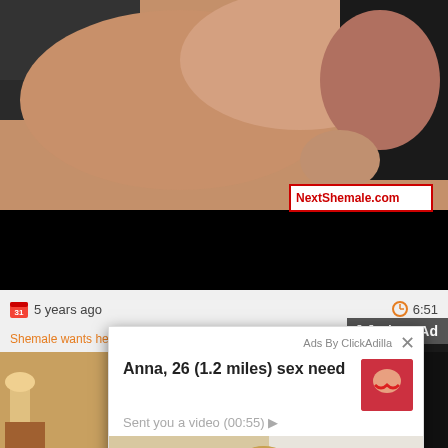[Figure (screenshot): Video player showing adult content thumbnail with watermark NextShemale.com]
5 years ago
6:51
[x] Close Ad
Shemale wants her asshole banged hard
[Figure (screenshot): Ad popup overlay: Anna, 26 (1.2 miles) sex need - Sent you a video (00:55) with photo of blonde woman on couch. Ads By ClickAdilla.]